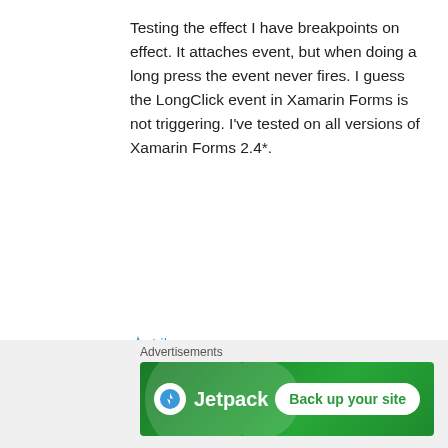Testing the effect I have breakpoints on effect. It attaches event, but when doing a long press the event never fires. I guess the LongClick event in Xamarin Forms is not triggering. I've tested on all versions of Xamarin Forms 2.4*.
Like
Alex Dunn
January 24, 2018 at 10:29 am
Is this on all platforms? or just one in particular. I'm wondering if it is an issue with it being in a listview. Something I'll investigate
Advertisements
[Figure (illustration): Jetpack advertisement banner with green background showing Jetpack logo and 'Back up your site' call-to-action button]